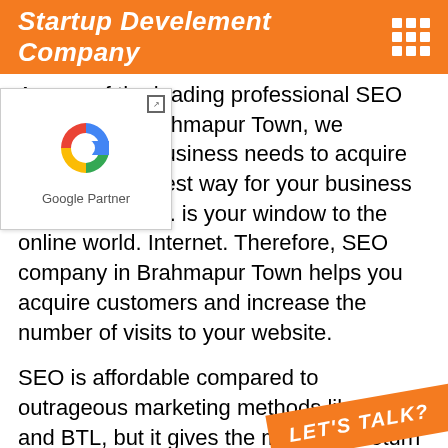Startup Develement Company
[Figure (logo): Google Partner badge with colorful G logo]
As one of the leading professional SEO company in Brahmapur Town, we understand y business needs to acquire clients, he easiest way for your business to clients online. is your window to the online world. Internet. Therefore, SEO company in Brahmapur Town helps you acquire customers and increase the number of visits to your website.
SEO is affordable compared to outrageous marketing methods like ATL and BTL, but it gives the maximum return on investment. SEO is a long-term investment for your business because the efforts yo each
LET'S TALK?